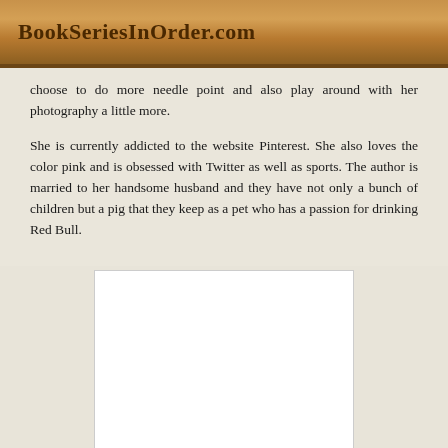BookSeriesInOrder.com
choose to do more needle point and also play around with her photography a little more.
She is currently addicted to the website Pinterest. She also loves the color pink and is obsessed with Twitter as well as sports. The author is married to her handsome husband and they have not only a bunch of children but a pig that they keep as a pet who has a passion for drinking Red Bull.
[Figure (photo): A white rectangular image placeholder, likely a book cover or author photo, shown blank/white.]